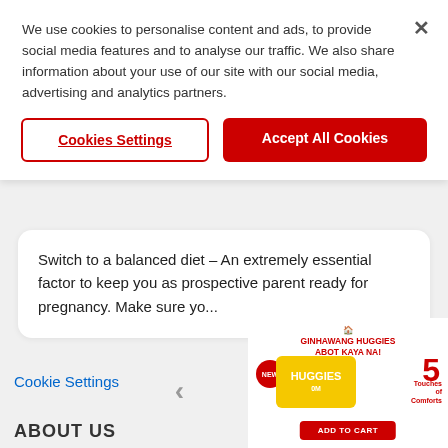We use cookies to personalise content and ads, to provide social media features and to analyse our traffic. We also share information about your use of our site with our social media, advertising and analytics partners.
Cookies Settings
Accept All Cookies
Switch to a balanced diet – An extremely essential factor to keep you as prospective parent ready for pregnancy. Make sure yo...
BACK TO TOP
Cookie Settings
[Figure (infographic): Huggies diaper advertisement with yellow package, red branding, '5 Touches of Comforts' label, 'NEW' badge, 'GINHAWANG HUGGIES ABOT KAYA NA!' text, and 'ADD TO CART' button]
ABOUT US